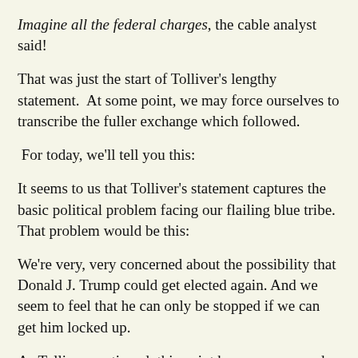Imagine all the federal charges, the cable analyst said!
That was just the start of Tolliver's lengthy statement.  At some point, we may force ourselves to transcribe the fuller exchange which followed.
For today, we'll tell you this:
It seems to us that Tolliver's statement captures the basic political problem facing our flailing blue tribe. That problem would be this:
We're very, very concerned about the possibility that Donald J. Trump could get elected again. And we seem to feel that he can only be stopped if we can get him locked up.
As Tolliver continued, this point became more and more clear. Because MSNBC, for obvious reasons, is currently slow-walking transcript production, we won't be posting the text of her full statement today.
Tolliver offered no sense that our blue tribe can fashion a political solution to this political problem. We're left with one way out—federal indictment—and as she continued, Tolliver suggested that